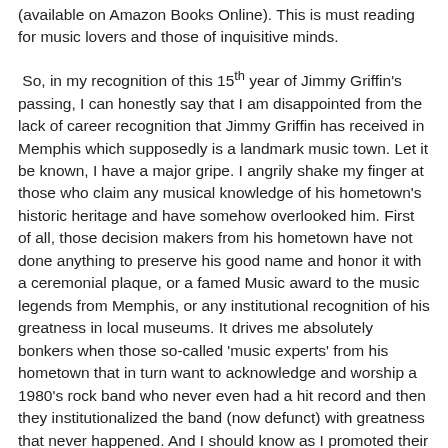(available on Amazon Books Online). This is must reading for music lovers and those of inquisitive minds.
So, in my recognition of this 15th year of Jimmy Griffin's passing, I can honestly say that I am disappointed from the lack of career recognition that Jimmy Griffin has received in Memphis which supposedly is a landmark music town. Let it be known, I have a major gripe. I angrily shake my finger at those who claim any musical knowledge of his hometown's historic heritage and have somehow overlooked him. First of all, those decision makers from his hometown have not done anything to preserve his good name and honor it with a ceremonial plaque, or a famed Music award to the music legends from Memphis, or any institutional recognition of his greatness in local museums. It drives me absolutely bonkers when those so-called 'music experts' from his hometown that in turn want to acknowledge and worship a 1980's rock band who never even had a hit record and then they institutionalized the band (now defunct) with greatness that never happened. And I should know as I promoted their record(s) all of which never got off the ground. Or how about the local institution that recognized a record producer (deceased) along with other contributions the